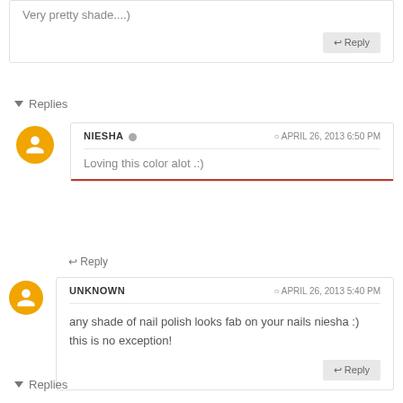Very pretty shade....)
Reply
▾ Replies
NIESHA
APRIL 26, 2013 6:50 PM
Loving this color alot .:)
Reply
UNKNOWN
APRIL 26, 2013 5:40 PM
any shade of nail polish looks fab on your nails niesha :) this is no exception!
Reply
▾ Replies